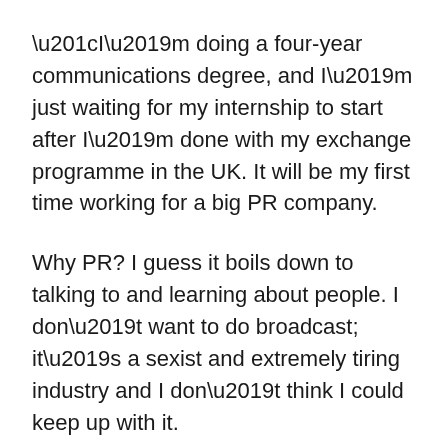“I’m doing a four-year communications degree, and I’m just waiting for my internship to start after I’m done with my exchange programme in the UK. It will be my first time working for a big PR company.
Why PR? I guess it boils down to talking to and learning about people. I don’t want to do broadcast; it’s a sexist and extremely tiring industry and I don’t think I could keep up with it.
It’s quite scary to know that after graduation, working life is just about grinding all day, everyday. Ideally, I want to be doing my own thing obviously, like publishing a book, touring